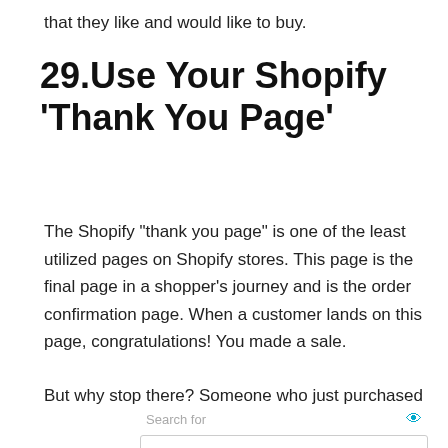that they like and would like to buy.
29.Use Your Shopify ‘Thank You Page’
The Shopify “thank you page” is one of the least utilized pages on Shopify stores. This page is the final page in a shopper’s journey and is the order confirmation page. When a customer lands on this page, congratulations! You made a sale.
But why stop there? Someone who just purchased
[Figure (other): Yahoo Search sponsored ad widget with search bar and two ad links: TOP RATED BUSINESS CRM SOFTWARE and ELIMINATE MOSQUITOES FROM YARD]